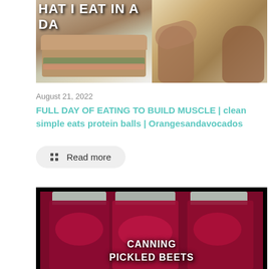[Figure (photo): Collage thumbnail image showing a sandwich/food on the left half and a muscular bodybuilder flexing on the right half, with banner text partially visible at top reading 'HAT I EAT IN A DA']
August 21, 2022
FULL DAY OF EATING TO BUILD MUSCLE | clean simple eats protein balls | Orangesandavocados
Read more
[Figure (photo): Photo of three mason jars filled with pickled beets (red/magenta color) with silver lids, on black background, with white bold text overlay reading 'CANNING PICKLED BEETS']